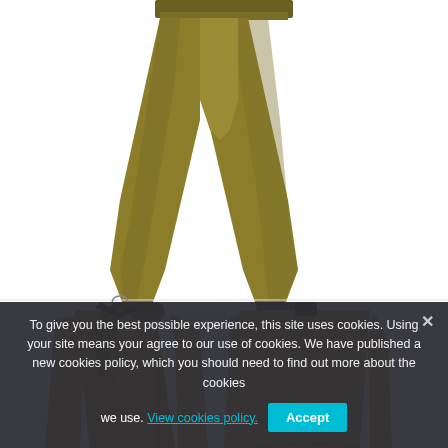[Figure (photo): Product photo of olive/khaki Buddhist monk or samue style wide-leg trousers with tie ankles, shown against white background. Below are two views of a matching olive/khaki kimono-style top, front view on the left and back view on the right.]
To give you the best possible experience, this site uses cookies. Using your site means your agree to our use of cookies. We have published a new cookies policy, which you should need to find out more about the cookies we use. View cookies policy. Accept